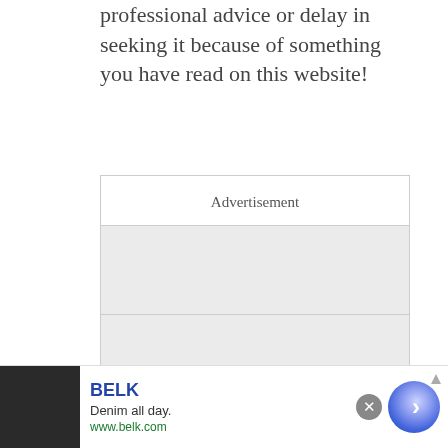professional advice or delay in seeking it because of something you have read on this website!
[Figure (other): Advertisement placeholder box with label and gray content blocks]
If you’re looking for some ideas on
[Figure (other): Banner advertisement for BELK - Denim all day. www.belk.com with close button and arrow button]